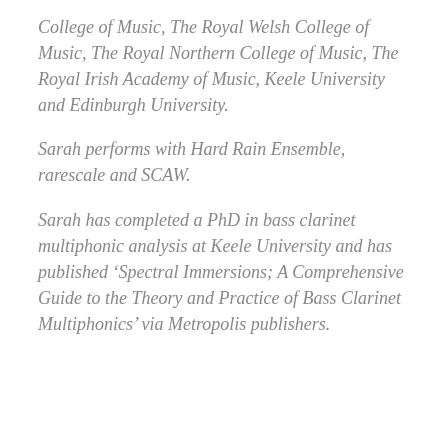College of Music, The Royal Welsh College of Music, The Royal Northern College of Music, The Royal Irish Academy of Music, Keele University and Edinburgh University.
Sarah performs with Hard Rain Ensemble, rarescale and SCAW.
Sarah has completed a PhD in bass clarinet multiphonic analysis at Keele University and has published ‘Spectral Immersions; A Comprehensive Guide to the Theory and Practice of Bass Clarinet Multiphonics’ via Metropolis publishers.